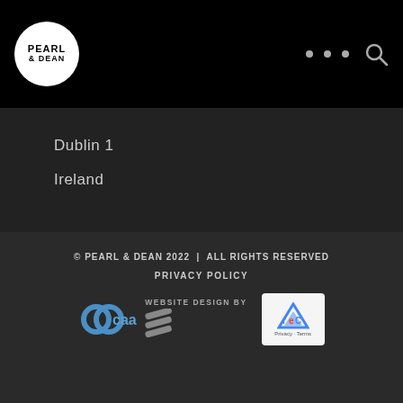[Figure (logo): Pearl & Dean logo in white circle on black navigation bar, with three dots menu and search icon on the right]
Dublin 1
Ireland
[Figure (infographic): Social media icons: Twitter, Facebook, YouTube, Instagram, LinkedIn in grey]
© PEARL & DEAN 2022  |  ALL RIGHTS RESERVED
PRIVACY POLICY
[Figure (logo): CAA logo with interlocking circles in blue, WEBSITE DESIGN BY text, and a stylized S logo, plus reCAPTCHA badge]